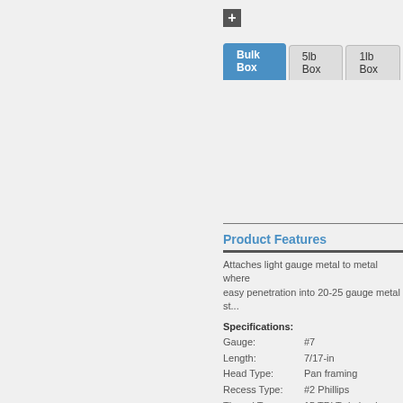[Figure (other): Plus/add icon button]
| Item No. | Description |
| --- | --- |
| 23 | 7 x 7/16-in, Pan He... |
| 23F | 7 x 7/16-in, Pan He... 15,000) |
Product Features
Attaches light gauge metal to metal where easy penetration into 20-25 gauge metal st...
Specifications:
Gauge: #7
Length: 7/17-in
Head Type: Pan framing
Recess Type: #2 Phillips
Thread Type: 15 TPI Twin lead
Coating: Gray phosphate
Installation Guidelines:
Use a standard screw gun with a depth-se... range of 0 to 4,000.
The pan head is fully seated when...
Overdriving my result in fastener fa...
The fastener must penetrate beyo...
All GRABBER® screw products are manuf...